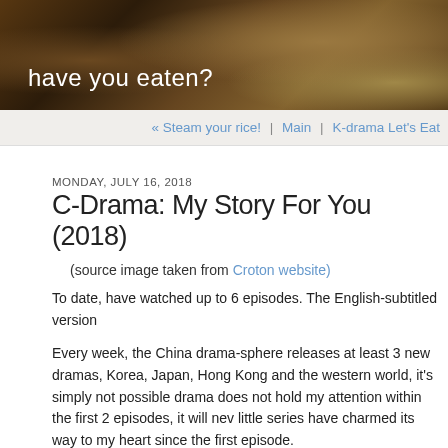have you eaten?
« Steam your rice! | Main | K-drama Let's Eat
MONDAY, JULY 16, 2018
C-Drama: My Story For You (2018)
(source image taken from Croton website)
To date, have watched up to 6 episodes. The English-subtitled version
Every week, the China drama-sphere releases at least 3 new dramas, Korea, Japan, Hong Kong and the western world, it's simply not possible drama does not hold my attention within the first 2 episodes, it will nev little series have charmed its way to my heart since the first episode.
This is not my usual cup of tea. I am more into period dramas and fanta was finding out that the drama is adapted from a semi-autobiographic powerhouse webnovel author Tang Jia San Shao, telling the story of hi the 21st century, with a focus on his romantic life.
The cast list was not familiar to me. I only know the lead actress' from